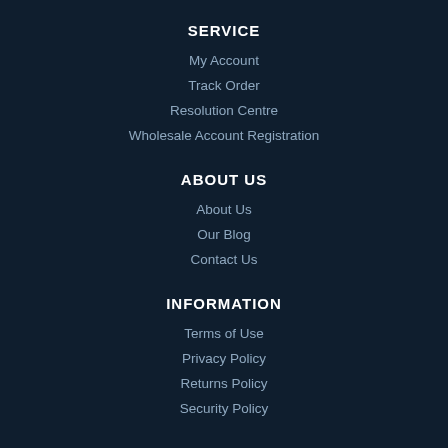SERVICE
My Account
Track Order
Resolution Centre
Wholesale Account Registration
ABOUT US
About Us
Our Blog
Contact Us
INFORMATION
Terms of Use
Privacy Policy
Returns Policy
Security Policy